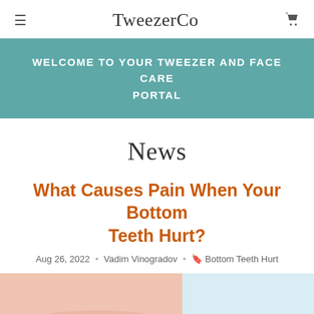TweezerCo
WELCOME TO YOUR TWEEZER AND FACE CARE PORTAL
News
What Causes Pain When Your Bottom Teeth Hurt?
Aug 26, 2022 · Vadim Vinogradov · Bottom Teeth Hurt
[Figure (photo): Close-up photo of a smiling person showing white bottom teeth, split with a light blue/white background on the right side]